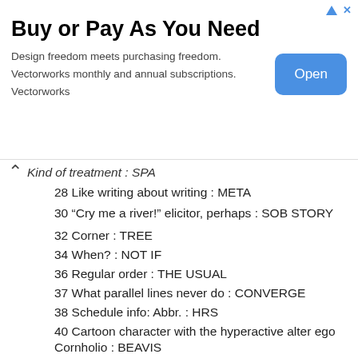[Figure (other): Advertisement banner: Buy or Pay As You Need. Design freedom meets purchasing freedom. Vectorworks monthly and annual subscriptions. Vectorworks. Open button.]
Kind of treatment : SPA
28 Like writing about writing : META
30 “Cry me a river!” elicitor, perhaps : SOB STORY
32 Corner : TREE
34 When? : NOT IF
36 Regular order : THE USUAL
37 What parallel lines never do : CONVERGE
38 Schedule info: Abbr. : HRS
40 Cartoon character with the hyperactive alter ego Cornholio : BEAVIS
42 [Testing, testing] : [TAP TAP]
43 Kid-lit character who lives in the Plaza Hotel : ELOISE
44 Touch down : ALIGHT
46 Gets just so : PRIMPS